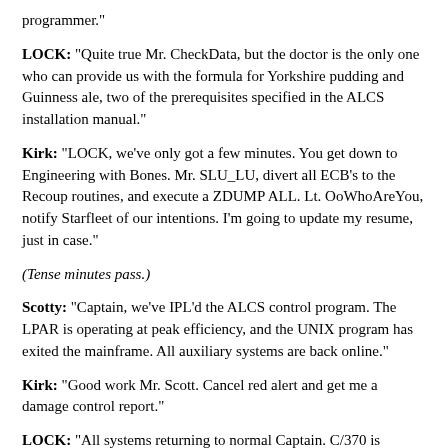programmer."
LOCK: "Quite true Mr. CheckData, but the doctor is the only one who can provide us with the formula for Yorkshire pudding and Guinness ale, two of the prerequisites specified in the ALCS installation manual."
Kirk: "LOCK, we've only got a few minutes. You get down to Engineering with Bones. Mr. SLU_LU, divert all ECB's to the Recoup routines, and execute a ZDUMP ALL. Lt. OoWhoAreYou, notify Starfleet of our intentions. I'm going to update my resume, just in case."
(Tense minutes pass.)
Scotty: "Captain, we've IPL'd the ALCS control program. The LPAR is operating at peak efficiency, and the UNIX program has exited the mainframe. All auxiliary systems are back online."
Kirk: "Good work Mr. Scott. Cancel red alert and get me a damage control report."
LOCK: "All systems returning to normal Captain. C/370 is operational, and the DF subroutines are operational as well."
Kirk: "Thank you Mr. LOCK. That was a close call.